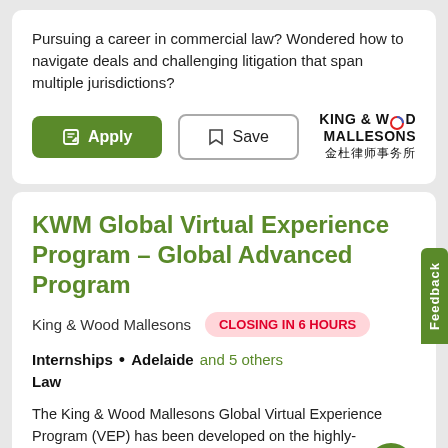Pursuing a career in commercial law? Wondered how to navigate deals and challenging litigation that span multiple jurisdictions?
[Figure (logo): King & Wood Mallesons logo with Chinese characters 金杜律师事务所]
KWM Global Virtual Experience Program – Global Advanced Program
King & Wood Mallesons
CLOSING IN 6 HOURS
Internships • Adelaide and 5 others
Law
The King & Wood Mallesons Global Virtual Experience Program (VEP) has been developed on the highly-